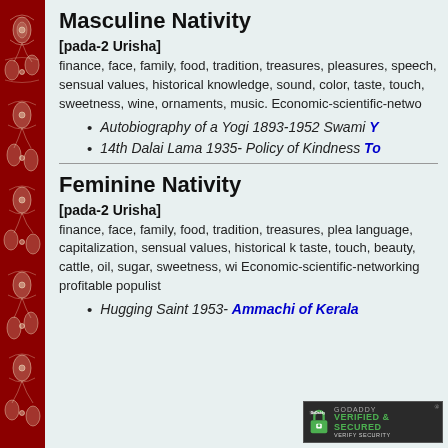Masculine Nativity
[pada-2 Urisha]
finance, face, family, food, tradition, treasures, pleasures, speech, sensual values, historical knowledge, sound, color, taste, touch, sweetness, wine, ornaments, music. Economic-scientific-netwo...
Autobiography of a Yogi 1893-1952 Swami Y...
14th Dalai Lama 1935- Policy of Kindness To...
Feminine Nativity
[pada-2 Urisha]
finance, face, family, food, tradition, treasures, plea... language, capitalization, sensual values, historical k... taste, touch, beauty, cattle, oil, sugar, sweetness, wi... Economic-scientific-networking profitable populist...
Hugging Saint 1953- Ammachi of Kerala
[Figure (logo): GoDaddy Verified & Secured badge]